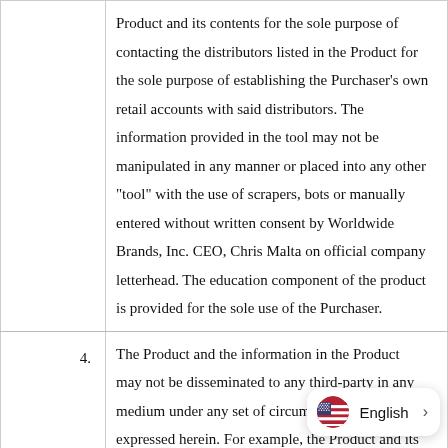Product and its contents for the sole purpose of contacting the distributors listed in the Product for the sole purpose of establishing the Purchaser's own retail accounts with said distributors. The information provided in the tool may not be manipulated in any manner or placed into any other "tool" with the use of scrapers, bots or manually entered without written consent by Worldwide Brands, Inc. CEO, Chris Malta on official company letterhead. The education component of the product is provided for the sole use of the Purchaser.
4. The Product and the information in the Product may not be disseminated to any third-party in any medium under any set of circumstances except as expressed herein. For example, the Product and its contents may not be reproduced and circulated. The Product and its contents may not be posted on the Purchaser's website. The Product and the